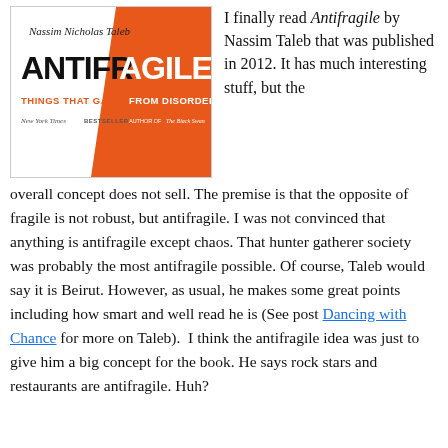[Figure (illustration): Book cover of Antifragile by Nassim Nicholas Taleb. Orange and white design with bold black text ANTIFRAGILE, subtitle THINGS THAT GAIN FROM DISORDER, New York Times BESTSELLER, AUTHOR OF The Black Swan. White torn paper effect revealing orange background.]
I finally read Antifragile by Nassim Taleb that was published in 2012. It has much interesting stuff, but the overall concept does not sell. The premise is that the opposite of fragile is not robust, but antifragile. I was not convinced that anything is antifragile except chaos. That hunter gatherer society was probably the most antifragile possible. Of course, Taleb would say it is Beirut. However, as usual, he makes some great points including how smart and well read he is (See post Dancing with Chance for more on Taleb).  I think the antifragile idea was just to give him a big concept for the book. He says rock stars and restaurants are antifragile. Huh?